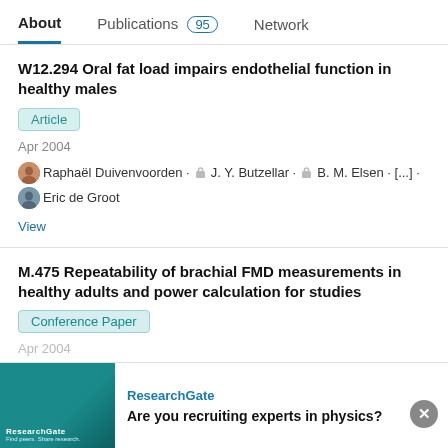About   Publications 95   Network
W12.294 Oral fat load impairs endothelial function in healthy males
Article
Apr 2004
Raphaël Duivenvoorden · J. Y. Butzellar · B. M. Elsen · [...] · Eric de Groot
View
M.475 Repeatability of brachial FMD measurements in healthy adults and power calculation for studies
Conference Paper
Apr 2004
Advertisement
ResearchGate
Are you recruiting experts in physics?